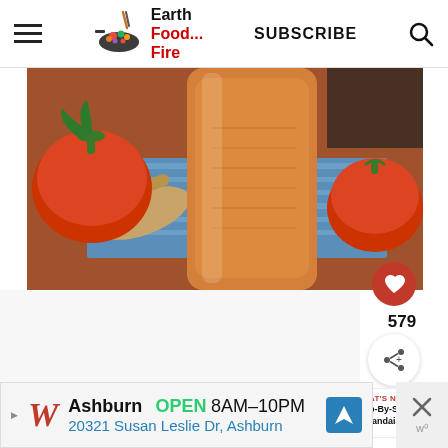Earth Food... Fire — SUBSCRIBE
[Figure (photo): A glass mason jar filled with orange tomato sauce, surrounded by red tomatoes, a wooden spoon, and a blue striped cloth on a wooden surface.]
579
WHAT'S NEXT → Step-By-Step Hollandaise...
Ashburn OPEN 8AM–10PM 20321 Susan Leslie Dr, Ashburn